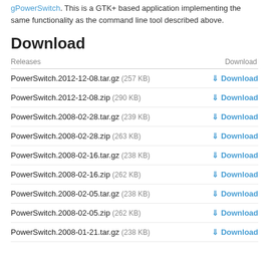gPowerSwitch. This is a GTK+ based application implementing the same functionality as the command line tool described above.
Download
| Releases | Download |
| --- | --- |
| PowerSwitch.2012-12-08.tar.gz (257 KB) | Download |
| PowerSwitch.2012-12-08.zip (290 KB) | Download |
| PowerSwitch.2008-02-28.tar.gz (239 KB) | Download |
| PowerSwitch.2008-02-28.zip (263 KB) | Download |
| PowerSwitch.2008-02-16.tar.gz (238 KB) | Download |
| PowerSwitch.2008-02-16.zip (262 KB) | Download |
| PowerSwitch.2008-02-05.tar.gz (238 KB) | Download |
| PowerSwitch.2008-02-05.zip (262 KB) | Download |
| PowerSwitch.2008-01-21.tar.gz (238 KB) | Download |